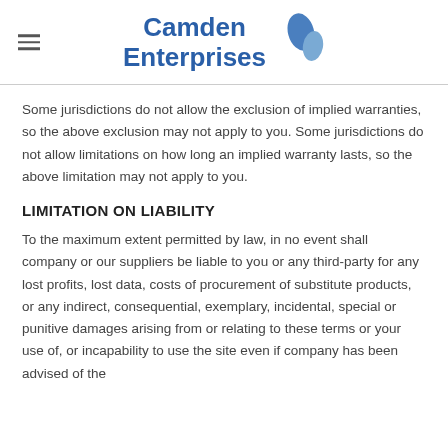Camden Enterprises
Some jurisdictions do not allow the exclusion of implied warranties, so the above exclusion may not apply to you. Some jurisdictions do not allow limitations on how long an implied warranty lasts, so the above limitation may not apply to you.
LIMITATION ON LIABILITY
To the maximum extent permitted by law, in no event shall company or our suppliers be liable to you or any third-party for any lost profits, lost data, costs of procurement of substitute products, or any indirect, consequential, exemplary, incidental, special or punitive damages arising from or relating to these terms or your use of, or incapability to use the site even if company has been advised of the